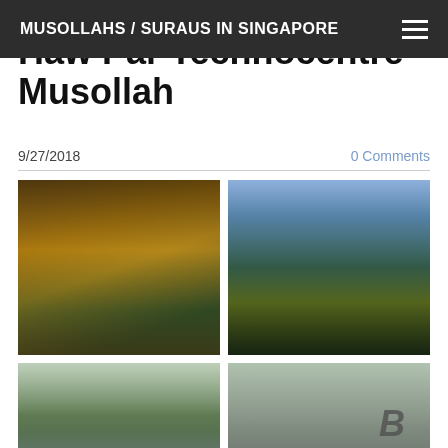MUSOLLAHS / SURAUS IN SINGAPORE
Haw Par Technocentre Musollah
9/27/2018
0 Comments
[Figure (photo): Interior photo showing a bus stop or transit shelter with LED ticker display and golden-colored equipment or facilities]
[Figure (photo): Exterior street photo showing a commercial building with palm trees and a yellow taxi in the foreground]
[Figure (photo): Exterior walkway photo showing a path between buildings with a sign reading Walk to Lobby B]
[Figure (photo): Exterior photo of building columns and lobby entrance with letter B visible, palm trees in background]